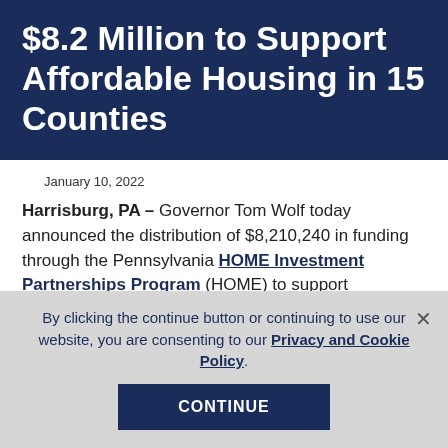$8.2 Million to Support Affordable Housing in 15 Counties
January 10, 2022
Harrisburg, PA – Governor Tom Wolf today announced the distribution of $8,210,240 in funding through the Pennsylvania HOME Investment Partnerships Program (HOME) to support affordable housing in Butler, Clarion, Clearfield, Columbia, Crawford, Franklin, Fulton…
By clicking the continue button or continuing to use our website, you are consenting to our Privacy and Cookie Policy.